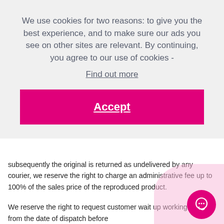We use cookies for two reasons: to give you the best experience, and to make sure our ads you see on other sites are relevant. By continuing, you agree to our use of cookies - Find out more
Accept
subsequently the original is returned as undelivered by any courier, we reserve the right to charge an administrative fee up to 100% of the sales price of the reproduced product.
We reserve the right to request customer wait up working days from the date of dispatch before